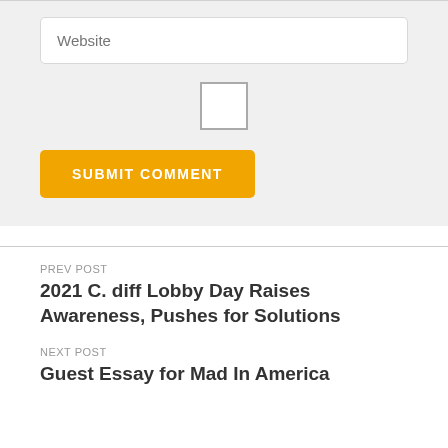[Figure (screenshot): Website input field with placeholder text 'Website' inside a light gray form area]
[Figure (screenshot): Checkbox (empty square) centered in the form area]
[Figure (screenshot): SUBMIT COMMENT button with amber/gold background and white uppercase text]
PREV POST
2021 C. diff Lobby Day Raises Awareness, Pushes for Solutions
NEXT POST
Guest Essay for Mad In America